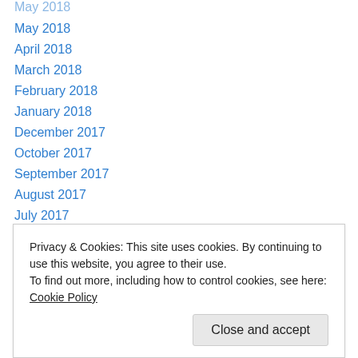May 2018
April 2018
March 2018
February 2018
January 2018
December 2017
October 2017
September 2017
August 2017
July 2017
June 2017
May 2017
April 2017
Privacy & Cookies: This site uses cookies. By continuing to use this website, you agree to their use.
To find out more, including how to control cookies, see here: Cookie Policy
Close and accept